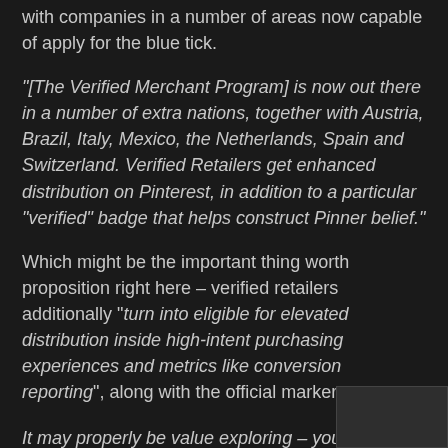with companies in a number of areas now capable of apply for the blue tick.
“[The Verified Merchant Program] is now out there in a number of extra nations, together with Austria, Brazil, Italy, Mexico, the Netherlands, Spain and Switzerland. Verified Retailers get enhanced distribution on Pinterest, in addition to a particular “verified” badge that helps construct Pinner belief.”
Which might be the important thing worth proposition right here – verified retailers additionally “turn into eligible for elevated distribution inside high-intent purchasing experiences and metrics like conversion reporting”, along with the official marker.
It may properly be value exploring – you’ll be able to study extra about Pinterest’s Verified Service provider